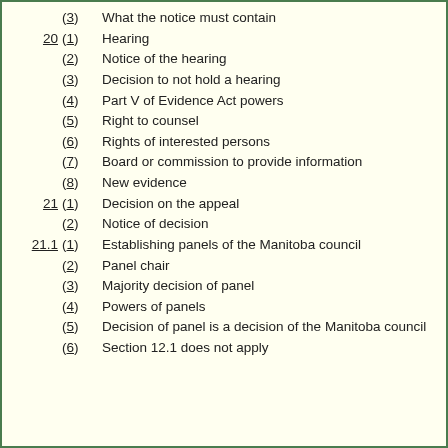(3) What the notice must contain
20 (1) Hearing
(2) Notice of the hearing
(3) Decision to not hold a hearing
(4) Part V of Evidence Act powers
(5) Right to counsel
(6) Rights of interested persons
(7) Board or commission to provide information
(8) New evidence
21 (1) Decision on the appeal
(2) Notice of decision
21.1 (1) Establishing panels of the Manitoba council
(2) Panel chair
(3) Majority decision of panel
(4) Powers of panels
(5) Decision of panel is a decision of the Manitoba council
(6) Section 12.1 does not apply